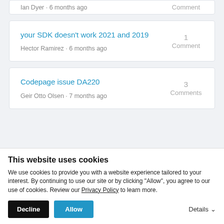Ian Dyer · 6 months ago
Comment
your SDK doesn't work 2021 and 2019
Hector Ramirez · 6 months ago
1 Comment
Codepage issue DA220
Geir Otto Olsen · 7 months ago
3 Comments
This website uses cookies
We use cookies to provide you with a website experience tailored to your interest. By continuing to use our site or by clicking "Allow", you agree to our use of cookies. Review our Privacy Policy to learn more.
Decline
Allow
Details